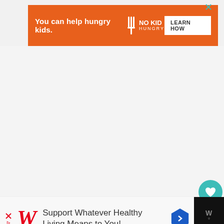[Figure (screenshot): Orange advertisement banner: 'You can help hungry kids.' with No Kid Hungry logo and 'LEARN HOW' button. X close button in top right corner.]
[Figure (screenshot): Large white/light gray blank main content area of a recipe website page.]
[Figure (screenshot): Floating teal heart button with count 134 and share button on right side of page.]
[Figure (screenshot): What's Next panel showing 'Kachumbari (Kenyan...' with food photo thumbnail.]
[Figure (screenshot): Bottom banner advertisement for Walgreens: 'Support Whatever Healthy Living Means to You!' with navigation arrow icon and dark sidebar with website logo showing degree symbol.]